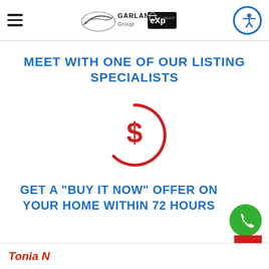GARLAND Group eXp Realty
MEET WITH ONE OF OUR LISTING SPECIALISTS
[Figure (illustration): Red circle icon with a dollar sign ($) in the center, rendered as a broken circle (open arc) in red.]
GET A "BUY IT NOW" OFFER ON YOUR HOME WITHIN 72 HOURS
Tonia N